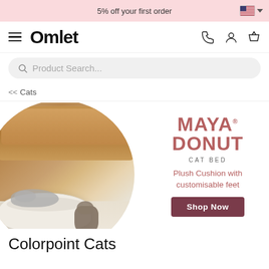5% off your first order
[Figure (screenshot): Omlet website navigation bar with hamburger menu, Omlet logo, phone, user, and basket icons]
Product Search...
<< Cats
[Figure (photo): Two cats resting in and beside a white fluffy Maya Donut cat bed in front of a tan leather sofa, with text overlay: Maya Donut CAT BED - Plush Cushion with customisable feet - Shop Now button]
Colorpoint Cats